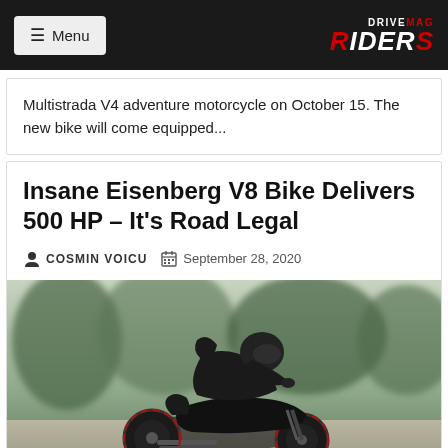≡ Menu | DRIVEMAG RIDERS
Multistrada V4 adventure motorcycle on October 15. The new bike will come equipped...
Insane Eisenberg V8 Bike Delivers 500 HP – It's Road Legal
COSMIN VOICU  September 28, 2020
[Figure (photo): Rider in black leathers and helmet crouched over a black custom V8 motorcycle (Eisenberg) at speed, blurred green background]